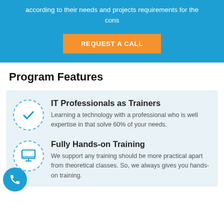according to their needs and projects requirements for the cons
REQUEST A CALL
Program Features
IT Professionals as Trainers
Learning a technology with a professional who is well expertise in that solve 60% of your needs.
Fully Hands-on Training
We support any training should be more practical apart from theoretical classes. So, we always gives you hands-on training.